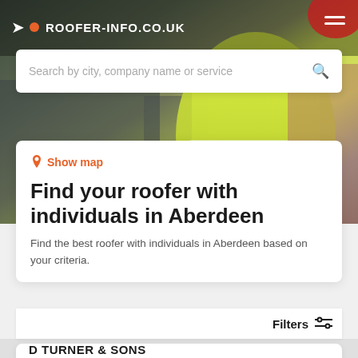[Figure (screenshot): Hero background image showing a roofer in yellow high-visibility jacket working on a roof with dark tiles]
ROOFER-INFO.CO.UK
Search by city, company name or service
Show map
Find your roofer with individuals in Aberdeen
Find the best roofer with individuals in Aberdeen based on your criteria.
Filters
D TURNER & SONS